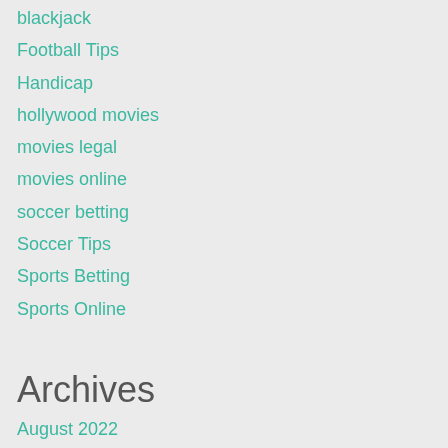blackjack
Football Tips
Handicap
hollywood movies
movies legal
movies online
soccer betting
Soccer Tips
Sports Betting
Sports Online
Archives
August 2022